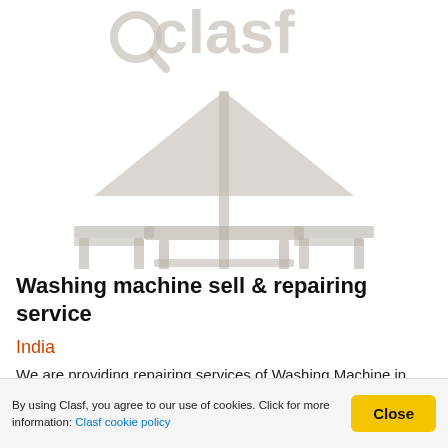[Figure (logo): Clasf website logo and outdoor furniture/umbrella illustration in grey tones]
Washing machine sell & repairing service
India
We are providing repairing services of Washing Machine in reasonable rate with warranty by Krishna services at your home step. LG,VIDEOCON,SAMSUNG Washing Machine in cheap rate all brands are available for sale &
By using Clasf, you agree to our use of cookies. Click for more information: Clasf cookie policy